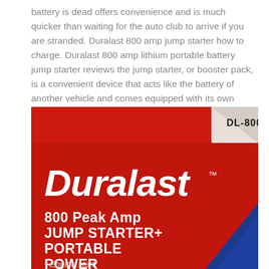battery is dead offers convenience and is much quicker than waiting for the auto club to arrive if you are stranded. Duralast 800 amp jump starter how to charge. Duralast 800 amp lithium portable battery jump starter reviews the jump starter, or booster pack, is a convenient device that acts like the battery of another vehicle and comes equipped with its own alligator clamps to attach to.
[Figure (photo): Photo of a red Duralast product box labeled 'DL-800' in the top right corner, with 'Duralast' in large white italic text, and below it '800 Peak Amp JUMP STARTER+ PORTABLE POWER' in bold white text. The bottom of the box is partially visible showing 'Engine start' text beginning.]